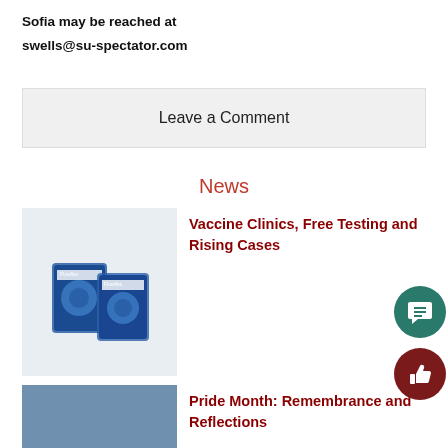Sofia may be reached at
swells@su-spectator.com
Leave a Comment
News
[Figure (photo): Flowflex COVID-19 rapid antigen test boxes on a white surface]
Vaccine Clinics, Free Testing and Rising Cases
[Figure (photo): Stone building facade with arched windows lit in rainbow colors and wide steps]
Pride Month: Remembrance and Reflections
[Figure (photo): Partial view of a person, bottom portion only visible]
Honoring Seattle University's